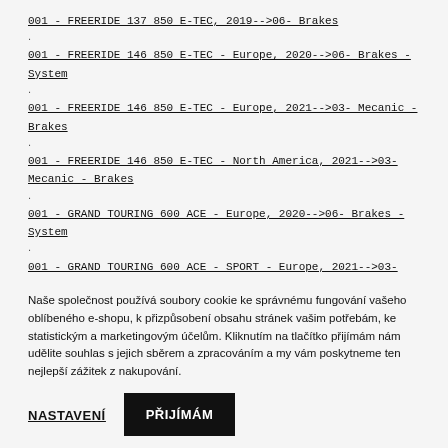001 - FREERIDE 137 850 E-TEC, 2019-->06- Brakes
.
001 - FREERIDE 146 850 E-TEC - Europe, 2020-->06- Brakes - System
.
001 - FREERIDE 146 850 E-TEC - Europe, 2021-->03- Mecanic - Brakes
.
001 - FREERIDE 146 850 E-TEC - North America, 2021-->03- Mecanic - Brakes
.
001 - GRAND TOURING 600 ACE - Europe, 2020-->06- Brakes - System
.
001 - GRAND TOURING 600 ACE - SPORT - Europe, 2021-->03- Mecanic - Brakes
Naše společnost používá soubory cookie ke správnému fungování vašeho oblíbeného e-shopu, k přizpůsobení obsahu stránek vašim potřebám, ke statistickým a marketingovým účelům. Kliknutím na tlačítko přijímám nám udělite souhlas s jejich sběrem a zpracováním a my vám poskytneme ten nejlepší zážitek z nakupování.
NASTAVENÍ
PŘIJÍMÁM